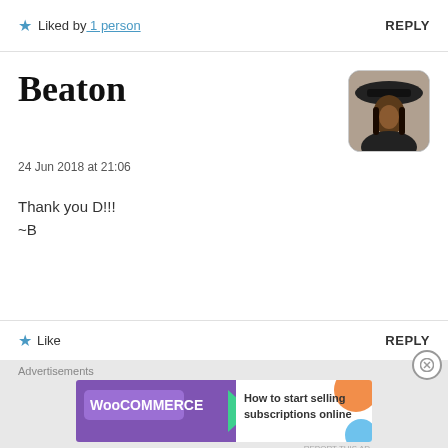★ Liked by 1 person   REPLY
Beaton
24 Jun 2018 at 21:06
Thank you D!!!
~B
★ Like   REPLY
Advertisements
[Figure (screenshot): WooCommerce advertisement: 'How to start selling subscriptions online']
REPORT THIS AD
Advertisements
[Figure (screenshot): DuckDuckGo advertisement: 'Search, browse, and email with more privacy. All in One Free App']
REPORT THIS AD